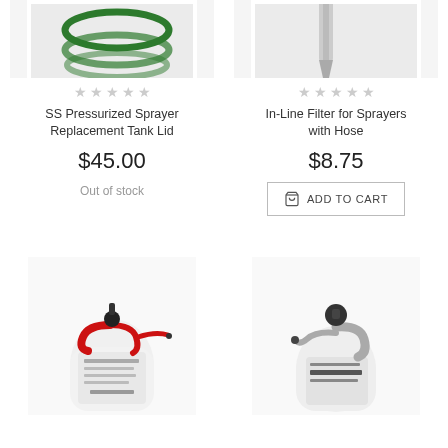[Figure (photo): SS Pressurized Sprayer Replacement Tank Lid product image (partially cropped at top)]
[Figure (photo): In-Line Filter for Sprayers with Hose product image (partially cropped at top)]
★★★★★ (empty stars rating)
SS Pressurized Sprayer Replacement Tank Lid
$45.00
Out of stock
★★★★★ (empty stars rating)
In-Line Filter for Sprayers with Hose
$8.75
ADD TO CART
[Figure (photo): Red and white pump sprayer (Chapin brand, model A1211) product image]
[Figure (photo): Grey and white JK Pump-Up Hand Sprayer (Impact brand) product image]